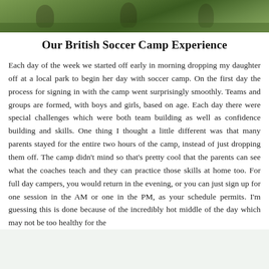[Figure (photo): Cropped outdoor photo showing children/people on grass, likely at a soccer camp, partially visible at top of page.]
Our British Soccer Camp Experience
Each day of the week we started off early in morning dropping my daughter off at a local park to begin her day with soccer camp. On the first day the process for signing in with the camp went surprisingly smoothly. Teams and groups are formed, with boys and girls, based on age. Each day there were special challenges which were both team building as well as confidence building and skills. One thing I thought a little different was that many parents stayed for the entire two hours of the camp, instead of just dropping them off. The camp didn't mind so that's pretty cool that the parents can see what the coaches teach and they can practice those skills at home too. For full day campers, you would return in the evening, or you can just sign up for one session in the AM or one in the PM, as your schedule permits. I'm guessing this is done because of the incredibly hot middle of the day which may not be too healthy for the